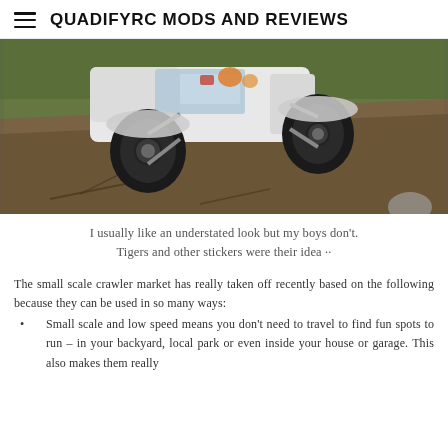QUADIFYRC MODS AND REVIEWS
[Figure (photo): RC crawler (white body with stickers) on a muddy off-road dirt terrain, climbing a slope with large black off-road tires visible.]
I usually like an understated look but my boys don't. Tigers and other stickers were their idea ··
The small scale crawler market has really taken off recently based on the following because they can be used in so many ways:
Small scale and low speed means you don't need to travel to find fun spots to run – in your backyard, local park or even inside your house or garage. This also makes them really